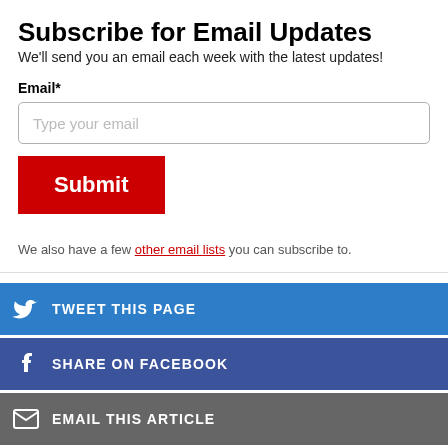Subscribe for Email Updates
We'll send you an email each week with the latest updates!
Email*
Type your email
Submit
We also have a few other email lists you can subscribe to.
TWEET THIS PAGE
SHARE ON FACEBOOK
EMAIL THIS ARTICLE